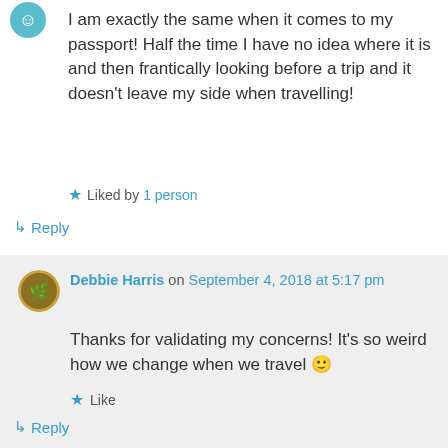[Figure (illustration): Small teal/green circular avatar icon at top left]
I am exactly the same when it comes to my passport! Half the time I have no idea where it is and then frantically looking before a trip and it doesn't leave my side when travelling!
★ Liked by 1 person
↳ Reply
[Figure (illustration): Circular avatar showing a colorful illustrated scene (nature/character) for Debbie Harris]
Debbie Harris on September 4, 2018 at 5:17 pm
Thanks for validating my concerns! It's so weird how we change when we travel 🙂
★ Like
↳ Reply